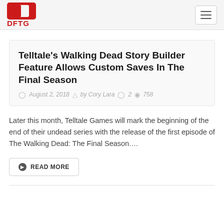DFTG
Telltale's Walking Dead Story Builder Feature Allows Custom Saves In The Final Season
August 2, 2018  by Cory Lara  2  758
Later this month, Telltale Games will mark the beginning of the end of their undead series with the release of the first episode of The Walking Dead: The Final Season....
READ MORE